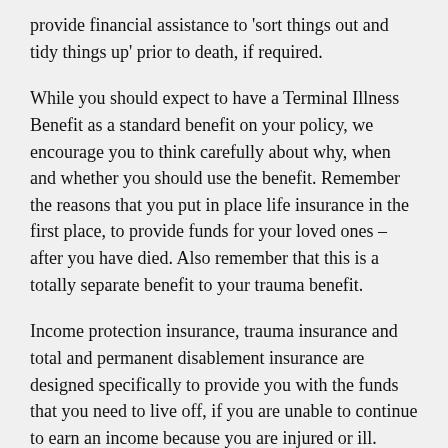provide financial assistance to 'sort things out and tidy things up' prior to death, if required.
While you should expect to have a Terminal Illness Benefit as a standard benefit on your policy, we encourage you to think carefully about why, when and whether you should use the benefit. Remember the reasons that you put in place life insurance in the first place, to provide funds for your loved ones – after you have died. Also remember that this is a totally separate benefit to your trauma benefit.
Income protection insurance, trauma insurance and total and permanent disablement insurance are designed specifically to provide you with the funds that you need to live off, if you are unable to continue to earn an income because you are injured or ill. These insurances need to be part